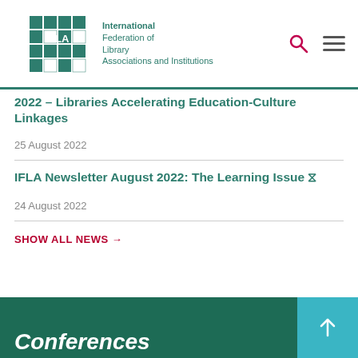International Federation of Library Associations and Institutions
2022 – Libraries Accelerating Education-Culture Linkages
25 August 2022
IFLA Newsletter August 2022: The Learning Issue 🔗
24 August 2022
SHOW ALL NEWS →
Conferences